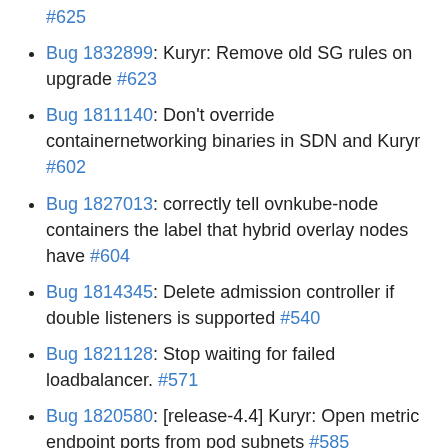#625
Bug 1832899: Kuryr: Remove old SG rules on upgrade #623
Bug 1811140: Don't override containernetworking binaries in SDN and Kuryr #602
Bug 1827013: correctly tell ovnkube-node containers the label that hybrid overlay nodes have #604
Bug 1814345: Delete admission controller if double listeners is supported #540
Bug 1821128: Stop waiting for failed loadbalancer. #571
Bug 1820580: [release-4.4] Kuryr: Open metric endpoint ports from pod subnets #585
Bug 1809204: Configure tls for multus metrics endpoint #594
Bug 1823399: Allow to only enable hybrid overlay and not handle Windows networks #588
Bug 1812678: RBAC for Whereabouts should reference inpools whereabouts.cni.cncf.io [backport